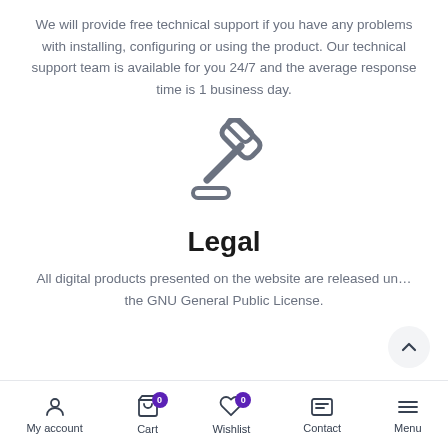We will provide free technical support if you have any problems with installing, configuring or using the product. Our technical support team is available for you 24/7 and the average response time is 1 business day.
[Figure (illustration): A gavel/judge hammer icon in gray, representing legal content.]
Legal
All digital products presented on the website are released under the GNU General Public License.
My account  Cart 0  Wishlist 0  Contact  Menu